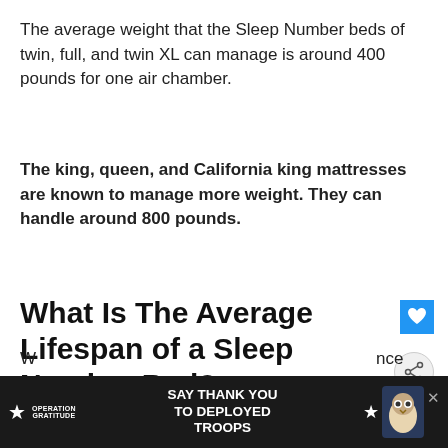The average weight that the Sleep Number beds of twin, full, and twin XL can manage is around 400 pounds for one air chamber.
The king, queen, and California king mattresses are known to manage more weight. They can handle around 800 pounds.
What Is The Average Lifespan of a Sleep Number Bed?
The average lifespan of the Sleep Number varies between six to eight years.
[Figure (infographic): Operation Gratitude advertisement banner: 'SAY THANK YOU TO DEPLOYED TROOPS' with stars and owl mascot on dark background]
W... nce